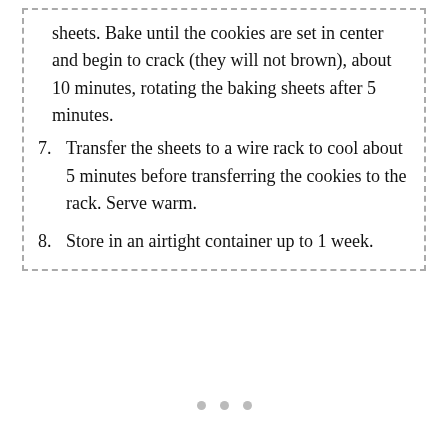sheets. Bake until the cookies are set in center and begin to crack (they will not brown), about 10 minutes, rotating the baking sheets after 5 minutes.
7. Transfer the sheets to a wire rack to cool about 5 minutes before transferring the cookies to the rack. Serve warm.
8. Store in an airtight container up to 1 week.